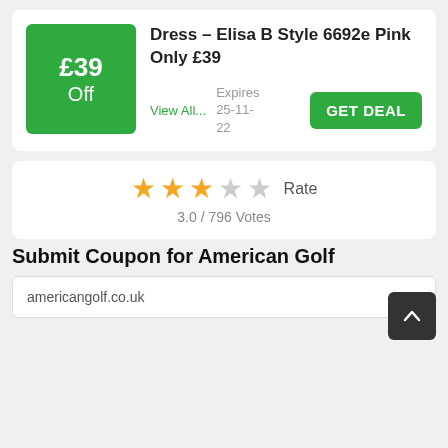[Figure (infographic): Green discount badge showing £39 Off]
Dress – Elisa B Style 6692e Pink Only £39
View All...
Expires 25-11-22
GET DEAL
[Figure (infographic): Star rating: 3 filled gold stars and 2 grey stars, with rate label]
3.0 / 796 Votes
Submit Coupon for American Golf
americangolf.co.uk